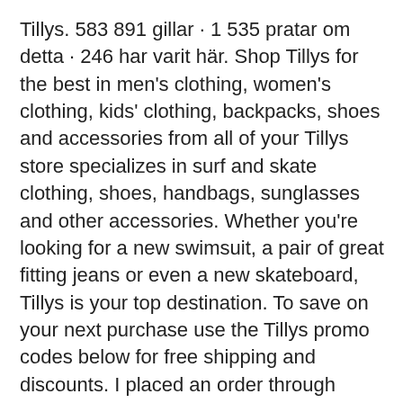Tillys. 583 891 gillar · 1 535 pratar om detta · 246 har varit här. Shop Tillys for the best in men's clothing, women's clothing, kids' clothing, backpacks, shoes and accessories from all of your Tillys store specializes in surf and skate clothing, shoes, handbags, sunglasses and other accessories. Whether you're looking for a new swimsuit, a pair of great fitting jeans or even a new skateboard, Tillys is your top destination. To save on your next purchase use the Tillys promo codes below for free shipping and discounts. I placed an order through PayPal with Tilly's, and after the order was complete they sent an email stating I still needed to complete the purchase. I contacted them stating I had already completed the purchase through PayPal.